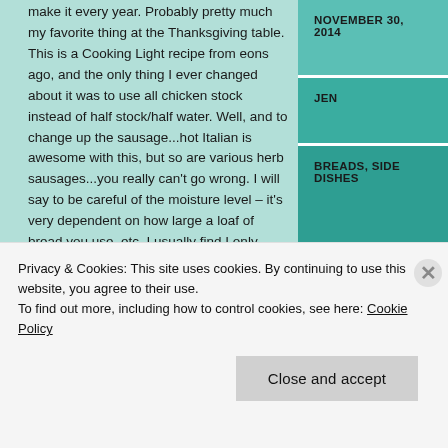make it every year. Probably pretty much my favorite thing at the Thanksgiving table. This is a Cooking Light recipe from eons ago, and the only thing I ever changed about it was to use all chicken stock instead of half stock/half water. Well, and to change up the sausage...hot Italian is awesome with this, but so are various herb sausages...you really can't go wrong. I will say to be careful of the moisture level – it's very dependent on how large a loaf of bread you use, etc. I usually find I only need 2 cups, but you can go up to 3...I also like a slightly crisper stuffing. Can't say enough good things about this one!
[Figure (photo): Food photo showing stuffing or bread dish]
NOVEMBER 30, 2014
JEN
BREADS, SIDE DISHES
HOLIDAY
Privacy & Cookies: This site uses cookies. By continuing to use this website, you agree to their use.
To find out more, including how to control cookies, see here: Cookie Policy
Close and accept